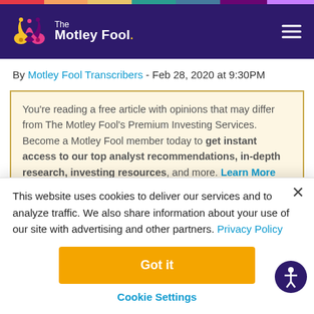The Motley Fool
By Motley Fool Transcribers - Feb 28, 2020 at 9:30PM
You’re reading a free article with opinions that may differ from The Motley Fool’s Premium Investing Services. Become a Motley Fool member today to get instant access to our top analyst recommendations, in-depth research, investing resources, and more. Learn More
This website uses cookies to deliver our services and to analyze traffic. We also share information about your use of our site with advertising and other partners. Privacy Policy
Got it
Cookie Settings